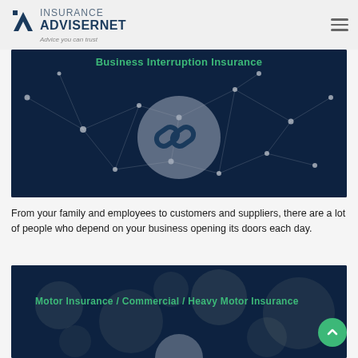Insurance Advisernet — Advice you can trust
[Figure (screenshot): Dark navy network/connectivity background image with glowing nodes and a central circular chain-link icon, overlaid with text 'Business Interruption Insurance' in green]
Business Interruption Insurance
From your family and employees to customers and suppliers, there are a lot of people who depend on your business opening its doors each day.
[Figure (screenshot): Dark navy blurred bokeh background image with green text overlay reading 'Motor Insurance / Commercial / Heavy Motor Insurance' and a circular icon below]
Motor Insurance / Commercial / Heavy Motor Insurance